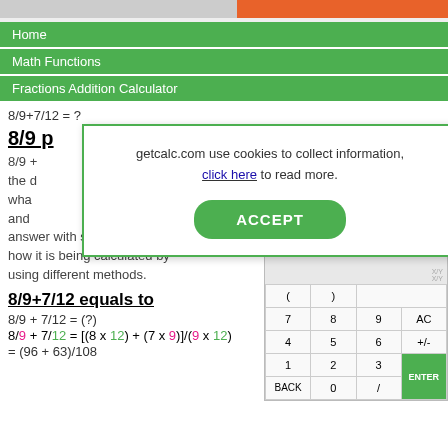Home
Math Functions
Fractions Addition Calculator
8/9+7/12 = ?
8/9 p
8/9 + ... the d... wha... and ... answer with steps to understand how it is being calculated by using different methods.
8/9+7/12 equals to
[Figure (screenshot): Cookie consent modal with ACCEPT button overlaying the page content]
[Figure (screenshot): Calculator widget with numeric keypad buttons]